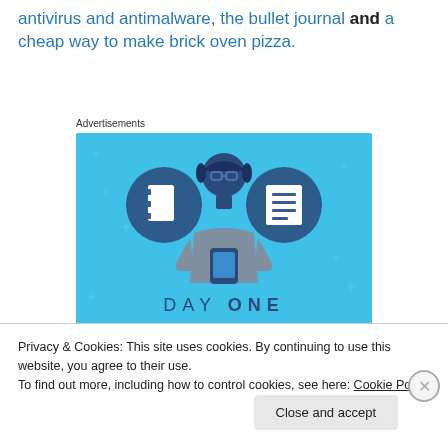antivirus and antimalware, the bullet journal and a cheap way to make brick oven pizza.
Advertisements
[Figure (illustration): Day One journaling app advertisement. Blue background with illustration of a person holding a phone, flanked by two circular icons showing a notebook and a lined document. Text reads: DAY ONE - The only journaling app you'll ever need.]
Privacy & Cookies: This site uses cookies. By continuing to use this website, you agree to their use.
To find out more, including how to control cookies, see here: Cookie Policy
Close and accept